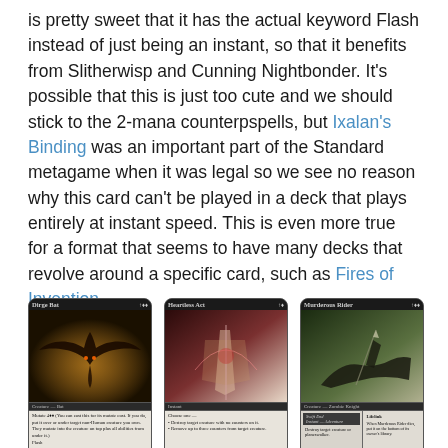is pretty sweet that it has the actual keyword Flash instead of just being an instant, so that it benefits from Slitherwisp and Cunning Nightbonder. It's possible that this is just too cute and we should stick to the 2-mana counterpspells, but Ixalan's Binding was an important part of the Standard metagame when it was legal so we see no reason why this card can't be played in a deck that plays entirely at instant speed. This is even more true for a format that seems to have many decks that revolve around a specific card, such as Fires of Invention.
[Figure (photo): Three Magic: The Gathering cards displayed side by side: Dirge Bat (Creature — Bat), Heartless Act (Instant), and Murderous Rider (Creature — Zombie Knight)]